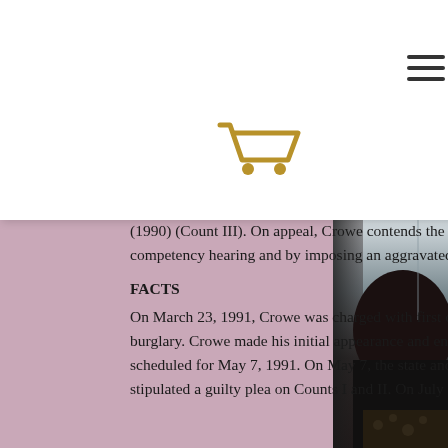[Figure (photo): Partial view of a person with dark hair on the right side of the page, with a blurred background of blue sky and dark curtain/fabric]
[Figure (screenshot): White overlay card showing hamburger menu icon (three horizontal lines) and a gold/yellow shopping cart icon]
o first Stat. § ount I); subd. 1(a), (c), (d) (1990) (Count II); and first degree burglary, Minn.Stat. § 609.582, subd. 1(a), (b) (1990) (Count III). On appeal, Crowe contends the trial court erred by not conducting a competency hearing and by imposing an aggravated sentence. We affirm.
FACTS
On March 23, 1991, Crowe was charged with first degree criminal sexual conduct and felony burglary. Crowe made his initial appearance and entered a not guilty plea. A jury trial was scheduled for May 7, 1991. On May 7, the state and Crowe reached a plea agreement which stipulated a guilty plea on Counts I and II. On July 2, Crowe was